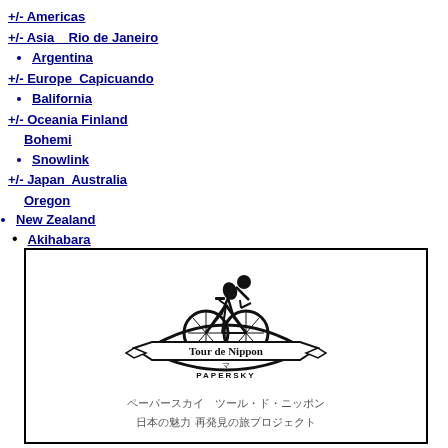+/- Americas
+/- Asia
Rio de Janeiro
Argentina
+/- Europe
Capicuando
Balifornia
+/- Oceania
Finland
Bohemi
Snowlink
+/- Japan
Australia
Oregon
New Zealand
Akihabara
Toronto
Outback
[Figure (logo): Tour de Nippon PAPERSKY logo — a cyclist on a bicycle above a ribbon banner reading Tour de Nippon with PAPERSKY below]
ペーパースカイ　ツール・ド・ニッポン
日本の魅力 再発見の旅プロジェクト